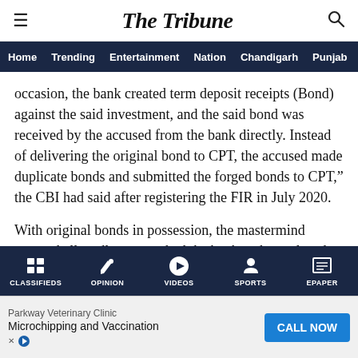The Tribune
Home  Trending  Entertainment  Nation  Chandigarh  Punjab
occasion, the bank created term deposit receipts (Bond) against the said investment, and the said bond was received by the accused from the bank directly. Instead of delivering the original bond to CPT, the accused made duplicate bonds and submitted the forged bonds to CPT," the CBI had said after registering the FIR in July 2020.
With original bonds in possession, the mastermind accused allegedly approached the bank and pre-closed deposits within days of their creation.
CLASSIFIEDS  OPINION  VIDEOS  SPORTS  EPAPER
s of CPT ✕
Parkway Veterinary Clinic — Microchipping and Vaccination — CALL NOW